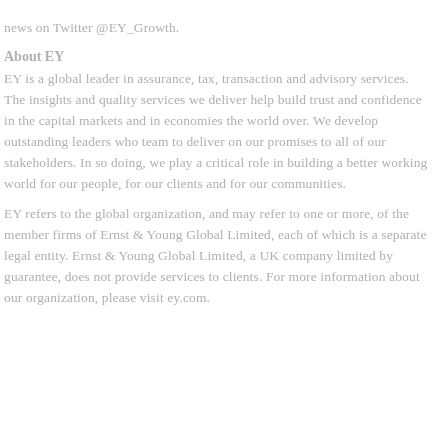news on Twitter @EY_Growth.
About EY
EY is a global leader in assurance, tax, transaction and advisory services. The insights and quality services we deliver help build trust and confidence in the capital markets and in economies the world over. We develop outstanding leaders who team to deliver on our promises to all of our stakeholders. In so doing, we play a critical role in building a better working world for our people, for our clients and for our communities.
EY refers to the global organization, and may refer to one or more, of the member firms of Ernst & Young Global Limited, each of which is a separate legal entity. Ernst & Young Global Limited, a UK company limited by guarantee, does not provide services to clients. For more information about our organization, please visit ey.com.